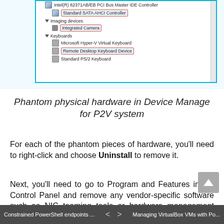[Figure (screenshot): Windows Device Manager showing Standard SATA AHCI Controller, Integrated Camera, Remote Desktop Keyboard Device highlighted in red boxes, plus Microsoft Hyper-V Virtual Keyboard and Standard PS/2 Keyboard entries]
Phantom physical hardware in Device Manager for P2V system
For each of the phantom pieces of hardware, you'll need to right-click and choose Uninstall to remove it.
Next, you'll need to go to Program and Features in the Control Panel and remove any vendor-specific software such as NIC teaming tools or hardware management software. Once you've done that, reboot the server, re-attach the network adapter to the network, and you're ready to use your new VM.
Constrained PowerShell endpoints ...    <    >    Managing VirtualBox VMs with Po...